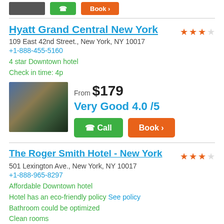[Figure (photo): Partial hotel listing image strip at top with green Call and orange Book buttons]
Hyatt Grand Central New York
109 East 42nd Street., New York, NY 10017
+1-888-455-5160
4 star Downtown hotel
Check in time: 4p
[Figure (photo): Aerial cityscape photo of Manhattan/New York City buildings]
From $179
Very Good 4.0 /5
Call
Book
The Roger Smith Hotel - New York
501 Lexington Ave., New York, NY 10017
+1-888-965-8297
Affordable Downtown hotel
Hotel has an eco-friendly policy See policy
Bathroom could be optimized
Clean rooms
[Figure (photo): Partial hotel image and price starting at $149]